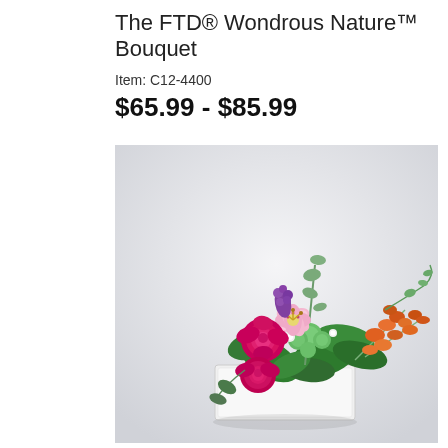The FTD® Wondrous Nature™ Bouquet
Item: C12-4400
$65.99 - $85.99
[Figure (photo): A floral bouquet arrangement in a white rectangular container featuring hot pink roses, a pink and white stargazer lily, orange snapdragons, green button mums, eucalyptus, and tropical foliage set against a light grey-white background.]